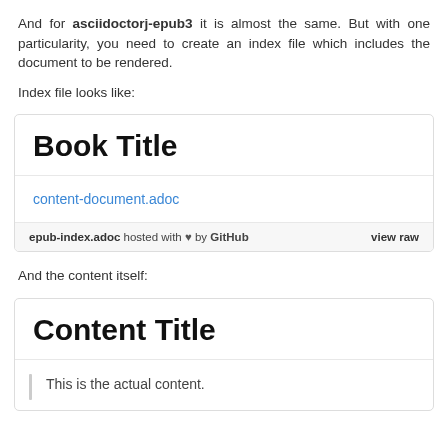And for asciidoctorj-epub3 it is almost the same. But with one particularity, you need to create an index file which includes the document to be rendered.
Index file looks like:
[Figure (screenshot): A GitHub Gist preview box showing an AsciiDoc file titled 'Book Title' with a link to 'content-document.adoc'. The footer shows 'epub-index.adoc hosted with ♥ by GitHub' and a 'view raw' link.]
And the content itself:
[Figure (screenshot): A GitHub Gist preview box showing an AsciiDoc file titled 'Content Title' with a blockquote containing 'This is the actual content.']